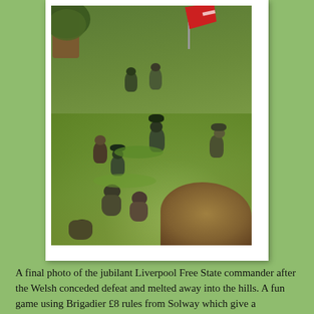[Figure (photo): A photo of wargaming miniatures on a green terrain board, showing a scene of small painted military figures. A red flag is visible in the upper right area. A tree is in the upper left. The figures appear to be in a Civil War or similar historical period setting, viewed from above.]
A final photo of the jubilant Liverpool Free State commander after the Welsh conceded defeat and melted away into the hills. A fun game using Brigadier £8 rules from Solway which give a satisfactory and enjoyable game. More LFS units are on my friend's painting table and I have some plans to raise a unit from Caldey Island and a "one shot wonder" weapon made from a battery of organ pipes donated by the Bethesda Chapel. I fear it